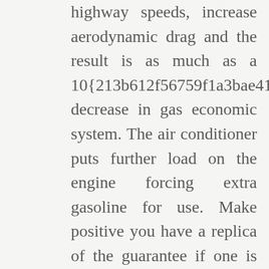highway speeds, increase aerodynamic drag and the result is as much as a 10{213b612f56759f1a3bae41e070f9e7c0ac132d28eb5c8c96f8acc00774c8c90a} decrease in gas economic system. The air conditioner puts further load on the engine forcing extra gasoline for use. Make positive you have a replica of the guarantee if one is provided. Call, stop by, and even request an appointment on-line. If your timing belt is close to due, benefit from the savings! With cars lasting longer, at Morgan Automotive, we understand how essential it's to properly maintain their steering and suspension systems.

When you go to David's Automotive Repair,